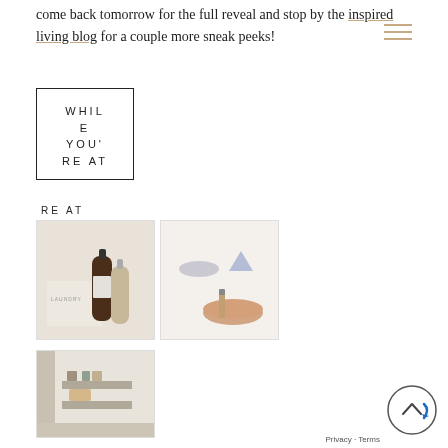come back tomorrow for the full reveal and stop by the inspired living blog for a couple more sneak peeks!
[Figure (illustration): Hamburger menu icon with three horizontal tan/gold lines]
[Figure (illustration): Decorative text box with border reading WHILE YOU'RE AT]
[Figure (photo): Photo of laundry bottles and a cloth bag labeled LAUNDRY]
[Figure (photo): Photo of small bowl and beauty/grooming items on white surface]
[Figure (photo): Photo of a small laundry room or closet with shelving]
[Figure (illustration): Scroll-to-top button with arrow and navigation icon, Privacy - Terms label]